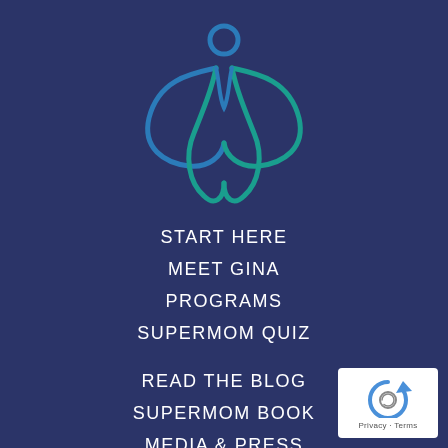[Figure (logo): Abstract figure logo with curving blue and teal lines forming a person-like shape with outstretched arms, on dark navy background]
START HERE
MEET GINA
PROGRAMS
SUPERMOM QUIZ
READ THE BLOG
SUPERMOM BOOK
MEDIA & PRESS
BOOK A CALL
[Figure (logo): reCAPTCHA badge showing circular arrow logo with Privacy and Terms text]